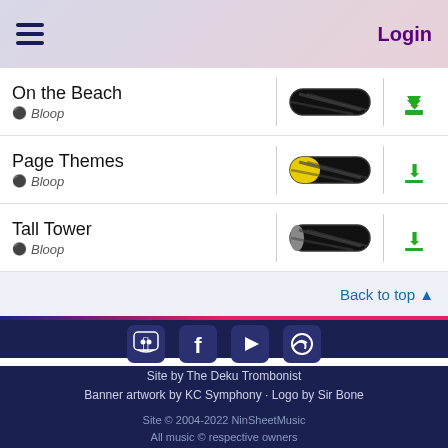Login
On the Beach
Bloop
Page Themes
Bloop
Tall Tower
Bloop
Back to top ▲
[Figure (infographic): Social media icons: Discord, Facebook, YouTube, Twitter]
Site by The Deku Trombonist
Banner artwork by KC Symphony · Logo by Sir Bone
Site © 2004-2022 NinSheetMusic
All music © respective owners